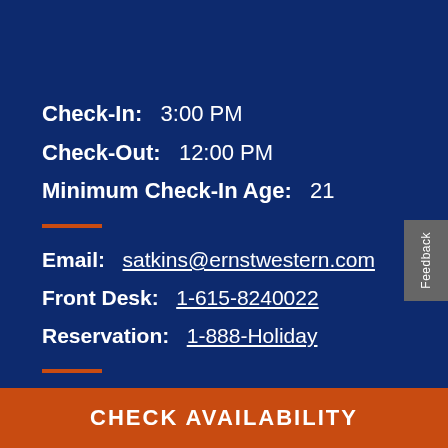Check-In:  3:00 PM
Check-Out:  12:00 PM
Minimum Check-In Age:  21
Email:  satkins@ernstwestern.com
Front Desk:  1-615-8240022
Reservation:  1-888-Holiday
Parking & Transportation Details
View FAQ
CHECK AVAILABILITY